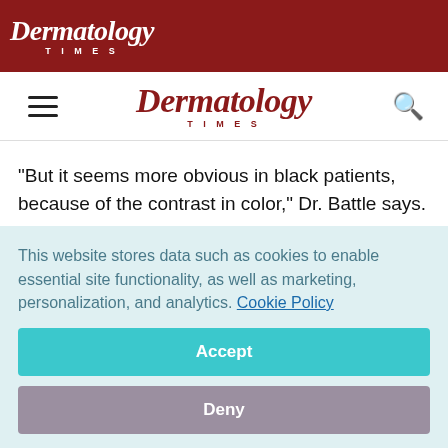Dermatology Times
Dermatology Times
"But it seems more obvious in black patients, because of the contrast in color," Dr. Battle says.
Dermatosis papulosa nigra (DPN), or small dark facial moles, as well as hypertrophic and keloid scarring are also more common.
This website stores data such as cookies to enable essential site functionality, as well as marketing, personalization, and analytics. Cookie Policy
Accept
Deny